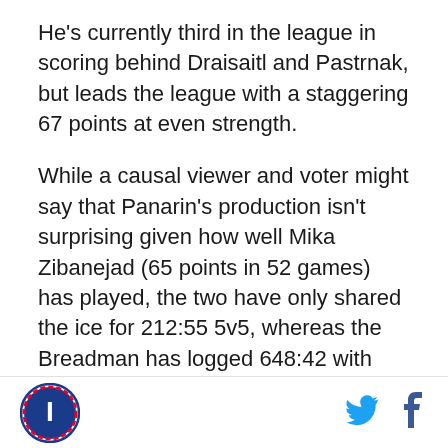He's currently third in the league in scoring behind Draisaitl and Pastrnak, but leads the league with a staggering 67 points at even strength.
While a causal viewer and voter might say that Panarin's production isn't surprising given how well Mika Zibanejad (65 points in 52 games) has played, the two have only shared the ice for 212:55 5v5, whereas the Breadman has logged 648:42 with Ryan Strome. There have been instances in which the two have teamed up offensively, but it isn't a regular occurence.
But offense isn't the only part of Panarin's game, and he's shown on numerous occasions this year how
Logo, Twitter, Facebook icons